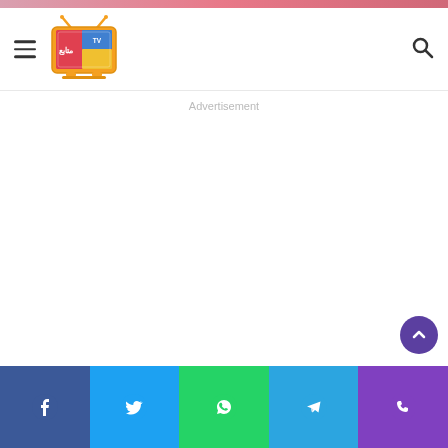[Figure (logo): Colorful TV-shaped logo with antenna, labeled as a media/TV website logo]
Advertisement
[Figure (other): Empty white advertisement area]
[Figure (other): Social share bar with Facebook, Twitter, WhatsApp, Telegram, and Phone buttons at bottom]